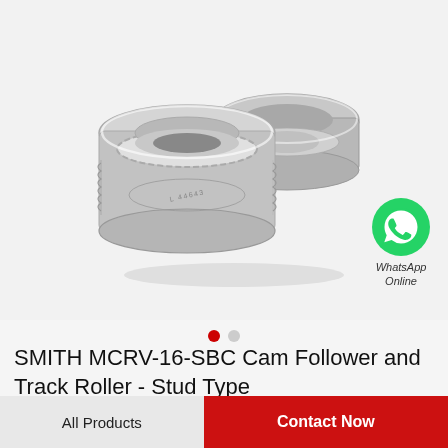[Figure (photo): Two metallic tapered roller bearings (cam follower / track roller stud type) displayed on a light gray background. The bearings are round with visible roller elements and stamped markings.]
[Figure (logo): WhatsApp green phone icon circle with text 'WhatsApp Online' below it in italic.]
SMITH MCRV-16-SBC Cam Follower and Track Roller - Stud Type
All Products
Contact Now